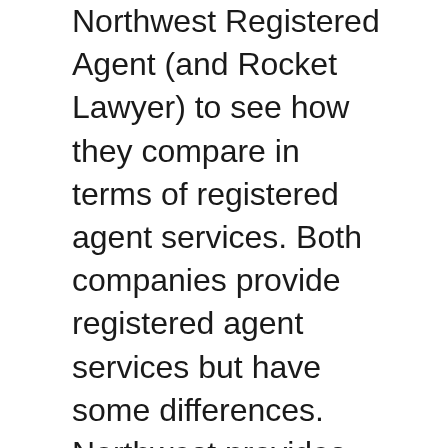Northwest Registered Agent (and Rocket Lawyer) to see how they compare in terms of registered agent services. Both companies provide registered agent services but have some differences. Northwest provides customized customer support and revolutionary filing practices. They also offer a free registered agent service for 12 months, whereas Rocket charges extra for the same. Both companies also offer additional benefits like on-call attorney service, which is especially useful for small businesses. However, the primary difference between these two companies is their price and the level of legal services.
Both services are reliable. However, Northwest's live chat requires that you enter